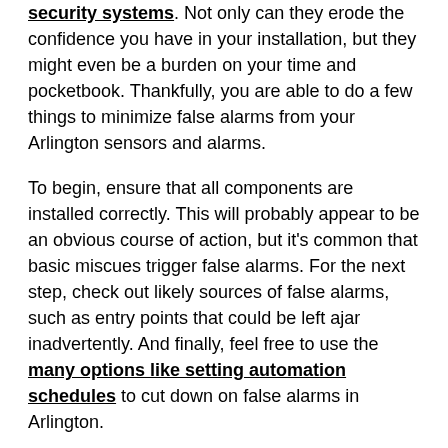security systems. Not only can they erode the confidence you have in your installation, but they might even be a burden on your time and pocketbook. Thankfully, you are able to do a few things to minimize false alarms from your Arlington sensors and alarms.
To begin, ensure that all components are installed correctly. This will probably appear to be an obvious course of action, but it's common that basic miscues trigger false alarms. For the next step, check out likely sources of false alarms, such as entry points that could be left ajar inadvertently. And finally, feel free to use the many options like setting automation schedules to cut down on false alarms in Arlington.
Could it be really that simple? Continue on and find out.